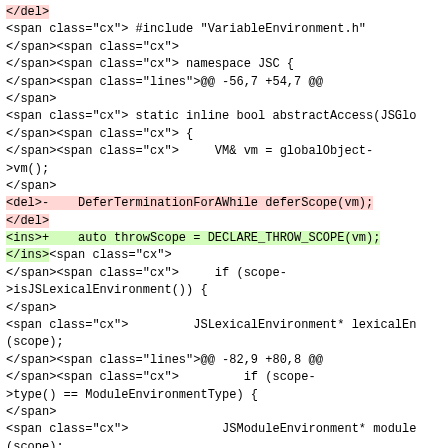Code diff snippet showing HTML/XML markup of a source code patch involving VariableEnvironment.h, JSC namespace, abstractAccess function, DeferTerminationForAWhile replaced by DECLARE_THROW_SCOPE, and JSLexicalEnvironment/JSModuleEnvironment/AbstractModuleRecord references.